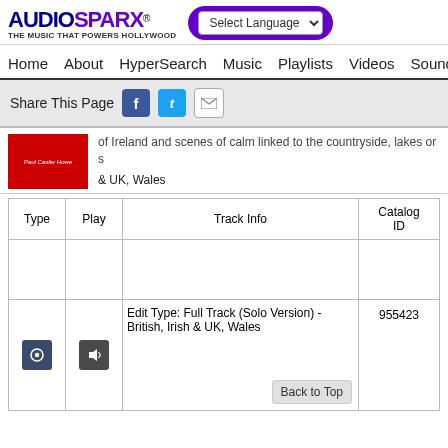[Figure (screenshot): AudioSparx logo with tagline 'THE MUSIC THAT POWERS HOLLYWOOD']
Select Language
Home   About   HyperSearch   Music   Playlists   Videos   Sound
Share This Page
of Ireland and scenes of calm linked to the countryside, lakes or s... & UK, Wales
| Type | Play | Track Info | Catalog ID |
| --- | --- | --- | --- |
| [music icon] | [speaker icon] | Edit Type: Full Track (Solo Version) - British, Irish & UK, Wales | 955423 |